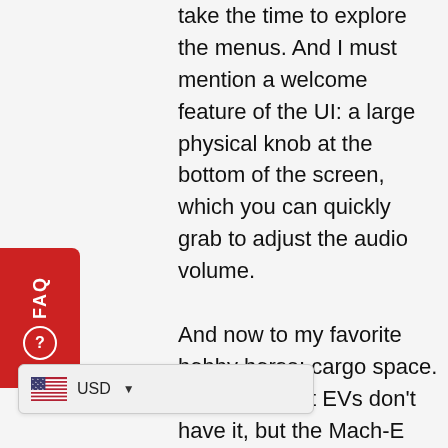take the time to explore the menus. And I must mention a welcome feature of the UI: a large physical knob at the bottom of the screen, which you can quickly grab to adjust the audio volume.

And now to my favorite hobby horse: cargo space. I need it, most EVs don't have it, but the Mach-E does. This horsey can haul more than just ass. Like Model Y, it has a rear cargo area with minimal liftover, and the back seats fold almost perfectly flat. Under the rear platform there's another usable compartment. The rear liftgate at the push of a button, and can be opened with a well-aimed foot under